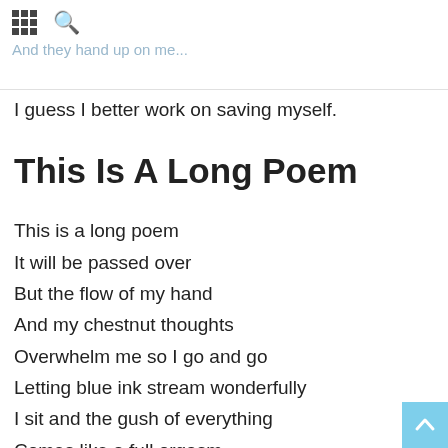And they hand up on me.
I guess I better work on saving myself.
This Is A Long Poem
This is a long poem
It will be passed over
But the flow of my hand
And my chestnut thoughts
Overwhelm me so I go and go
Letting blue ink stream wonderfully
I sit and the gush of everything
Comes like a full orgasm